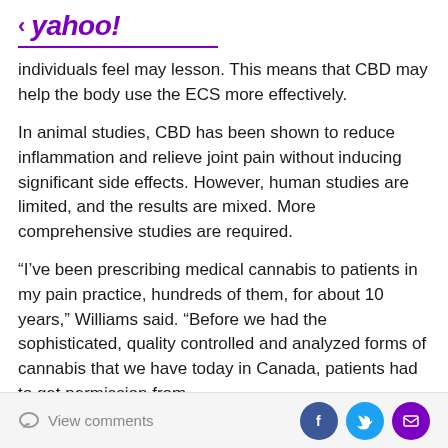< yahoo!
individuals feel may lesson. This means that CBD may help the body use the ECS more effectively.
In animal studies, CBD has been shown to reduce inflammation and relieve joint pain without inducing significant side effects. However, human studies are limited, and the results are mixed. More comprehensive studies are required.
“I’ve been prescribing medical cannabis to patients in my pain practice, hundreds of them, for about 10 years,” Williams said. “Before we had the sophisticated, quality controlled and analyzed forms of cannabis that we have today in Canada, patients had to get permission from
View comments